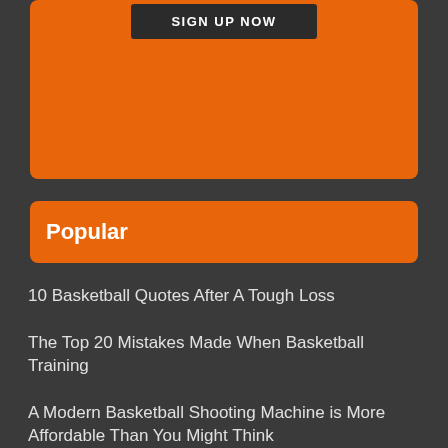[Figure (other): Orange banner with SIGN UP NOW dark button at the top]
Popular
10 Basketball Quotes After A Tough Loss
The Top 20 Mistakes Made When Basketball Training
A Modern Basketball Shooting Machine is More Affordable Than You Might Think
3 Signs That You're a Good Basketball Coach Despite Your Win-Loss Record